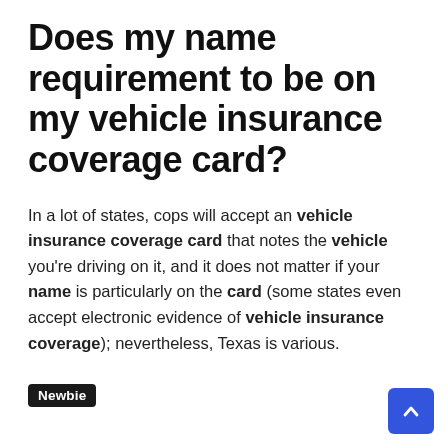Does my name requirement to be on my vehicle insurance coverage card?
In a lot of states, cops will accept an vehicle insurance coverage card that notes the vehicle you’re driving on it, and it does not matter if your name is particularly on the card (some states even accept electronic evidence of vehicle insurance coverage); nevertheless, Texas is various.
Newbie